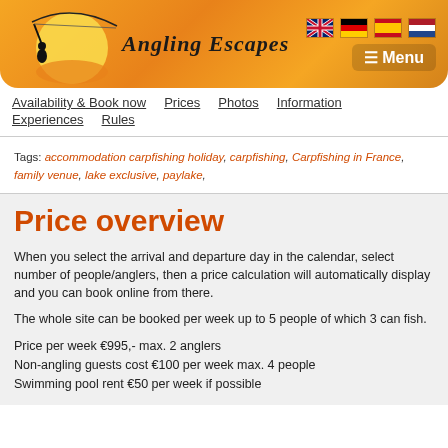[Figure (logo): Angling Escapes logo with silhouette of angler fishing from a circle/sunset graphic, on an orange gradient header background with flag icons (UK, Germany, Spain, Netherlands) and a Menu button]
Availability & Book now | Prices | Photos | Information | Experiences | Rules
Tags: accommodation carpfishing holiday, carpfishing, Carpfishing in France, family venue, lake exclusive, paylake,
Price overview
When you select the arrival and departure day in the calendar, select number of people/anglers, then a price calculation will automatically display and you can book online from there.
The whole site can be booked per week up to 5 people of which 3 can fish.
Price per week €995,- max. 2 anglers
Non-angling guests cost €100 per week max. 4 people
Swimming pool rent €50 per week if possible